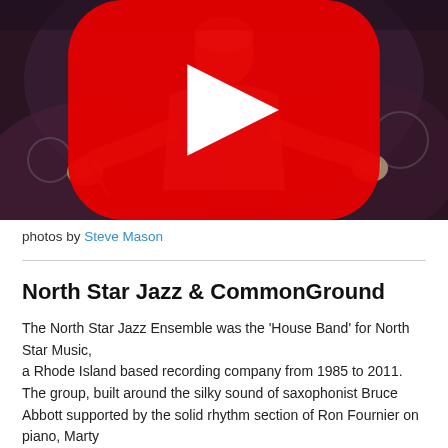[Figure (photo): Video thumbnail showing an elderly man with white hair gesturing with his hands over a drum kit, dark reddish-purple background, with a YouTube play button overlay in the center.]
photos by Steve Mason
North Star Jazz & CommonGround
The North Star Jazz Ensemble was the 'House Band' for North Star Music, a Rhode Island based recording company from 1985 to 2011. The group, built around the silky sound of saxophonist Bruce Abbott supported by the solid rhythm section of Ron Fournier on piano, Marty